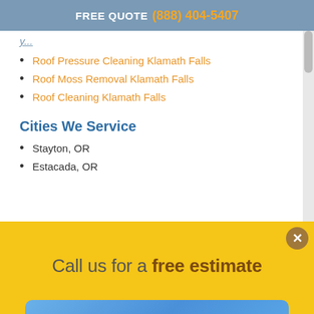FREE QUOTE (888) 404-5407
Roof Pressure Cleaning Klamath Falls
Roof Moss Removal Klamath Falls
Roof Cleaning Klamath Falls
Cities We Service
Stayton, OR
Estacada, OR
Call us for a free estimate
(888) 404-5407